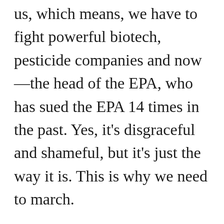us, which means, we have to fight powerful biotech, pesticide companies and now—the head of the EPA, who has sued the EPA 14 times in the past. Yes, it's disgraceful and shameful, but it's just the way it is. This is why we need to march.
March for Science, Saturday, April 22; marchforsciencesf.com.